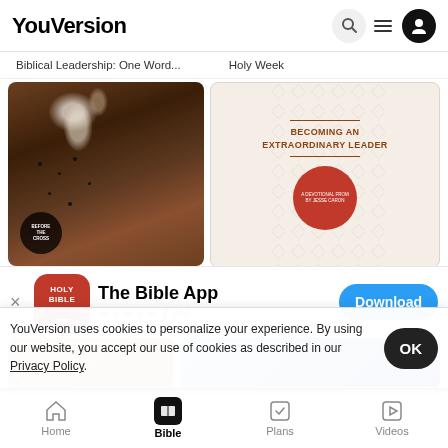YouVersion
Biblical Leadership: One Word...   Holy Week
[Figure (screenshot): Two content cards: left card shows flowers on dark background with circular badge reading 'BEFORE THE CROSS', right card shows 'BECOMING AN EXTRAORDINARY LEADER' text on cream background with red circle badge]
[Figure (screenshot): App download banner: The Bible App icon (red with HOLY BIBLE text), app name 'The Bible App', star rating 4-5 stars 7.9M reviews, blue Download button. Close X on left.]
[Figure (screenshot): Two partially visible content cards below app banner]
Finding G... in the Hard Place...   Faith Family Football Challeng...
YouVersion uses cookies to personalize your experience. By using our website, you accept our use of cookies as described in our Privacy Policy.
Home   Bible   Plans   Videos